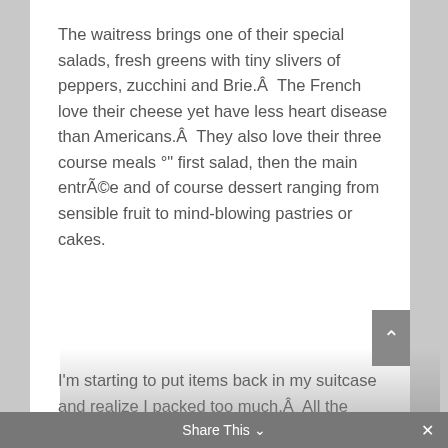The waitress brings one of their special salads, fresh greens with tiny slivers of peppers, zucchini and Brie.Â  The French love their cheese yet have less heart disease than Americans.Â  They also love their three course meals °" first salad, then the main entrÃ©e and of course dessert ranging from sensible fruit to mind-blowing pastries or cakes.
I'm starting to put items back in my suitcase and realize I packed too much.Â  All the things I thought I needed from extra shoes to snacks to